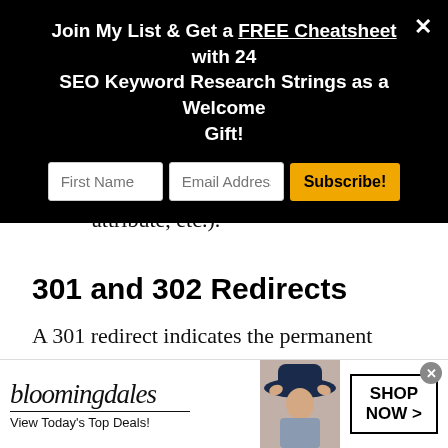[Figure (screenshot): Email signup modal popup with black background. Title: 'Join My List & Get a FREE Cheatsheet with 24 SEO Keyword Research Strings as a Welcome Gift!' with input fields for First Name and Email Address, and a Subscribe button. An X close button in top right.]
broken (mistyped, incorrect HTML attribute, etc.).
301 and 302 Redirects
A 301 redirect indicates the permanent moving of a web page from one location to another
[Figure (screenshot): Bloomingdales advertisement banner at the bottom. Shows Bloomingdales logo, 'View Today's Top Deals!' tagline, a woman in a hat, and a 'SHOP NOW >' button.]